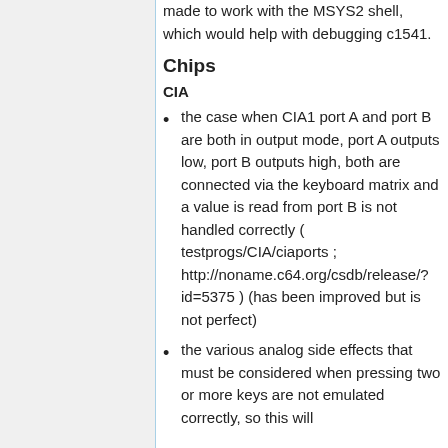made to work with the MSYS2 shell, which would help with debugging c1541.
Chips
CIA
the case when CIA1 port A and port B are both in output mode, port A outputs low, port B outputs high, both are connected via the keyboard matrix and a value is read from port B is not handled correctly ( testprogs/CIA/ciaports ; http://noname.c64.org/csdb/release/?id=5375 ) (has been improved but is not perfect)
the various analog side effects that must be considered when pressing two or more keys are not emulated correctly, so this will